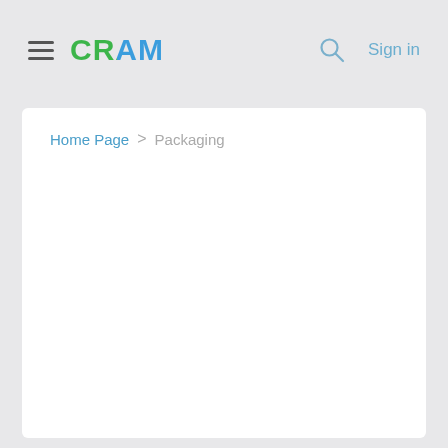CRAM | Sign in
Home Page > Packaging